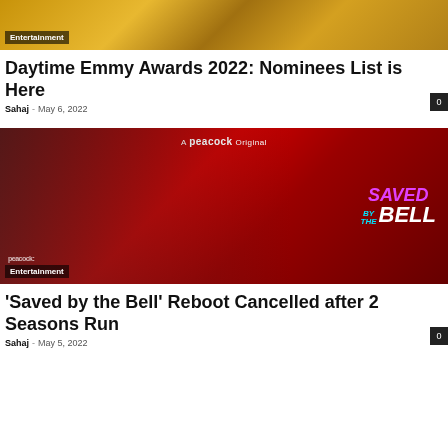[Figure (photo): Partial view of a gold trophy/award against a gold background]
Entertainment
Daytime Emmy Awards 2022: Nominees List is Here
Sahaj · May 6, 2022
[Figure (photo): Saved by the Bell Peacock Original promotional image showing cast members against a red locker background with the show logo]
Entertainment
'Saved by the Bell' Reboot Cancelled after 2 Seasons Run
Sahaj · May 5, 2022